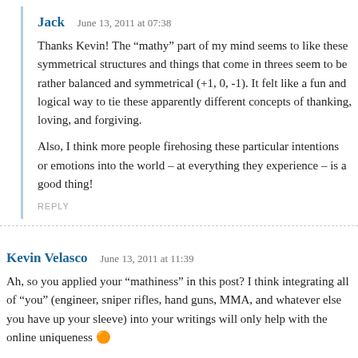Jack   June 13, 2011 at 07:38
Thanks Kevin! The “mathy” part of my mind seems to like these symmetrical structures and things that come in threes seem to be rather balanced and symmetrical (+1, 0, -1). It felt like a fun and logical way to tie these apparently different concepts of thanking, loving, and forgiving.
Also, I think more people firehosing these particular intentions or emotions into the world – at everything they experience – is a good thing!
REPLY
Kevin Velasco   June 13, 2011 at 11:39
Ah, so you applied your “mathiness” in this post? I think integrating all of “you” (engineer, sniper rifles, hand guns, MMA, and whatever else you have up your sleeve) into your writings will only help with the online uniqueness
The footnotes are cool too, that stood out to me in other posts.
REPLY